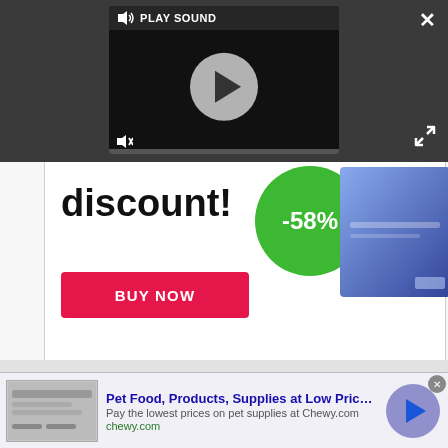[Figure (screenshot): Video player overlay with dark background, play button circle in center, 'PLAY SOUND' label at top, mute icon at bottom left, close X button top right, expand icon bottom right]
[Figure (screenshot): Advertisement showing 'discount!' text in bold, a green circle badge with '-58%', a 'BUY NOW' red button, and a product image]
Compared to scientists depicted in most movies, Goddard says he remembers scientists being "much funnier" He continued by saying, "And there's this
[Figure (screenshot): Bottom advertisement banner: Pet Food, Products, Supplies at Low Prices - Pay the lowest prices on pet supplies at Chewy.com, chewy.com, with a blue circular arrow button]